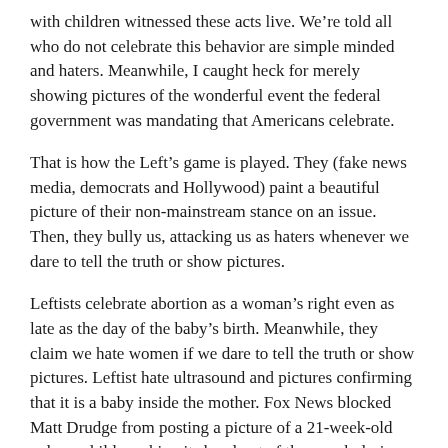with children witnessed these acts live. We're told all who do not celebrate this behavior are simple minded and haters. Meanwhile, I caught heck for merely showing pictures of the wonderful event the federal government was mandating that Americans celebrate.
That is how the Left's game is played. They (fake news media, democrats and Hollywood) paint a beautiful picture of their non-mainstream stance on an issue. Then, they bully us, attacking us as haters whenever we dare to tell the truth or show pictures.
Leftists celebrate abortion as a woman's right even as late as the day of the baby's birth. Meanwhile, they claim we hate women if we dare to tell the truth or show pictures. Leftist hate ultrasound and pictures confirming that it is a baby inside the mother. Fox News blocked Matt Drudge from posting a picture of a 21-week-old unborn child reaching its hand out of the womb during a rare operation. Drudge wanted to show its humanity. http://bit.ly/2mulNAU